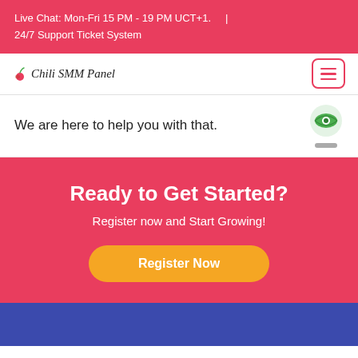Live Chat: Mon-Fri 15 PM - 19 PM UCT+1.    |
24/7 Support Ticket System
[Figure (logo): Chili SMM Panel logo with small chili icon and handwritten-style text]
[Figure (other): Hamburger menu button with three horizontal lines, red border and icons]
We are here to help you with that.
[Figure (other): Green eye icon (visibility toggle)]
Ready to Get Started?
Register now and Start Growing!
Register Now